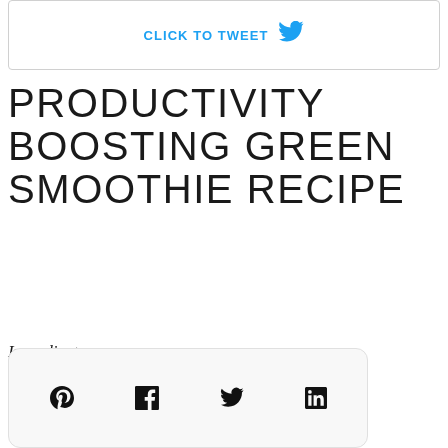[Figure (screenshot): Click to Tweet box with Twitter bird icon and the text 'CLICK TO TWEET']
PRODUCTIVITY BOOSTING GREEN SMOOTHIE RECIPE
Ingredients:
1 cup of Kale
/ B...
[Figure (other): Social share bar with Pinterest, Facebook, Twitter, and LinkedIn icons]